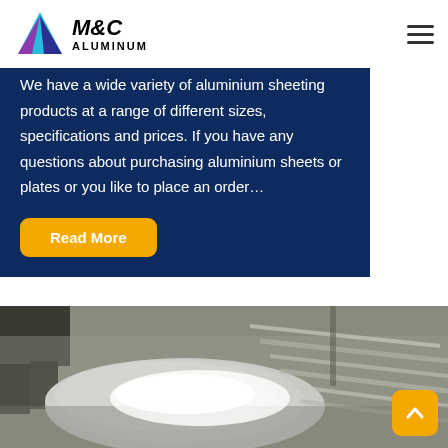[Figure (logo): M&C Aluminum logo with colorful triangle icon and italic bold text]
We have a wide variety of aluminium sheeting products at a range of different sizes, specifications and prices. If you have any questions about purchasing aluminium sheets or plates or you like to place an order…
Read More
[Figure (photo): Photo of aluminium sheets/plates on a factory floor with a person in the background]